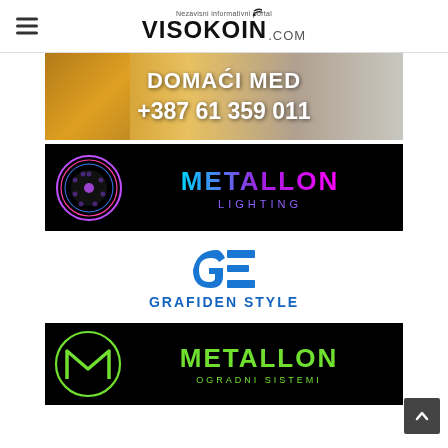Nezavisni informativni portal VISOKOIN.COM
[Figure (logo): Domaći Med advertisement banner with honeycomb background, white bold text: DOMAĆI MED and +387 61 359 011]
[Figure (logo): Metallon Lighting advertisement on black background with neon circular logo and gradient text METALLON LIGHTING]
[Figure (logo): Grafiden Style logo with blue GE icon and blue bold text GRAFIDEN STYLE]
[Figure (logo): Metallon Ogradni Sistemi advertisement on black background with green M-circle logo and green text METALLON OGRADNI SISTEMI]